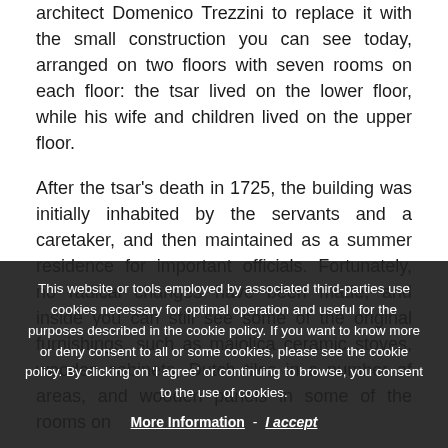architect Domenico Trezzini to replace it with the small construction you can see today, arranged on two floors with seven rooms on each floor: the tsar lived on the lower floor, while his wife and children lived on the upper floor.
After the tsar's death in 1725, the building was initially inhabited by the servants and a caretaker, and then maintained as a summer residence for important officials. Fortunately, no radical changes have been made, and inside you can still see some of the original furnishings, such as majolica ceramic stoves, wooden cabinets, Dutch tiles in a number of areas, and wooden panels in some of the rooms on
This website or tools employed by associated third-parties use cookies necessary for optimal operation and useful for the purposes described in the cookie policy. If you want to know more or deny consent to all or some cookies, please see the cookie policy. By clicking on 'I agree' or continuing to browse, you consent to the use of cookies.
More Information - I accept